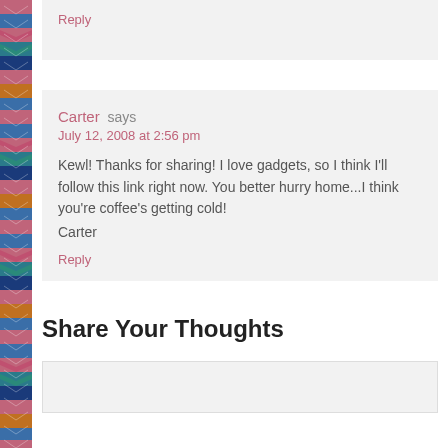Reply
Carter says
July 12, 2008 at 2:56 pm
Kewl! Thanks for sharing! I love gadgets, so I think I'll follow this link right now. You better hurry home...I think you're coffee's getting cold!
Carter
Reply
Share Your Thoughts